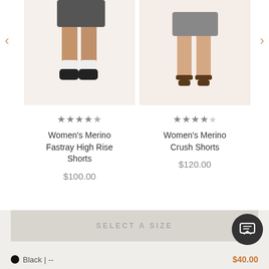[Figure (screenshot): Legs of a model wearing Women's Merino Fastray High Rise Shorts with black sneakers]
[Figure (screenshot): Legs of a model wearing Women's Merino Crush Shorts with brown sandals]
★★★★½
Women's Merino Fastray High Rise Shorts
$100.00
★★★★☆
Women's Merino Crush Shorts
$120.00
4.6  ★★★★½  91 Reviews
[Figure (logo): Authentic Reviews badge with teal 'b:' icon]
SELECT A SIZE
● Black | --
$40.00